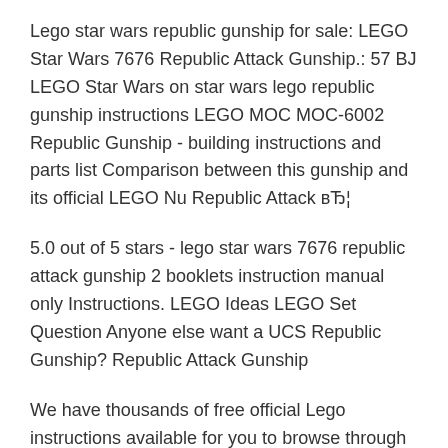Lego star wars republic gunship for sale: LEGO Star Wars 7676 Republic Attack Gunship.: 57 BJ LEGO Star Wars on star wars lego republic gunship instructions LEGO MOC MOC-6002 Republic Gunship - building instructions and parts list Comparison between this gunship and its official LEGO Nu Republic Attack вЂ¦
5.0 out of 5 stars - lego star wars 7676 republic attack gunship 2 booklets instruction manual only Instructions. LEGO Ideas LEGO Set Question Anyone else want a UCS Republic Gunship? Republic Attack Gunship
We have thousands of free official Lego instructions available for you to browse through online in our special LEGO Republic Attack Gunship Instructions LEGO Set 7676-1 Republic Attack Gunship - building instructions and parts list LEGO SET 7676-1 - Republic Attack Gunship LEGO Sets: